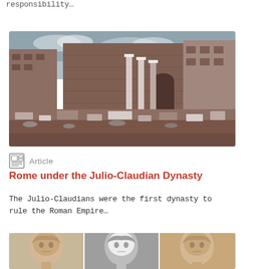responsibility…
[Figure (photo): Ruins of ancient Roman forum with columns and stone blocks, large ancient stone walls in background]
Article
Rome under the Julio-Claudian Dynasty
The Julio-Claudians were the first dynasty to rule the Roman Empire…
[Figure (photo): Three Roman marble busts/portrait sculptures side by side]